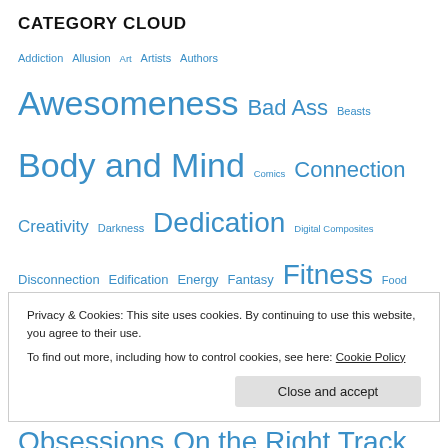CATEGORY CLOUD
Addiction Allusion Art Artists Authors Awesomeness Bad Ass Beasts Body and Mind Comics Connection Creativity Darkness Dedication Digital Composites Disconnection Edification Energy Fantasy Fitness Food Friends Gym Health and Fitness History Light Love Men Metaphors Mind New Mexico Obsessions On the Right Track Personal Glimpses Pleasure and Pain Poetry Poets Pop Culture Positive Energies Quotes Reflection Santa Fe She Muscle Strength Symbols and Imagery Women Workout Worthy Reads Writers Writing
CATEGORY LIST
Presentations
Privacy & Cookies: This site uses cookies. By continuing to use this website, you agree to their use.
To find out more, including how to control cookies, see here: Cookie Policy
Close and accept